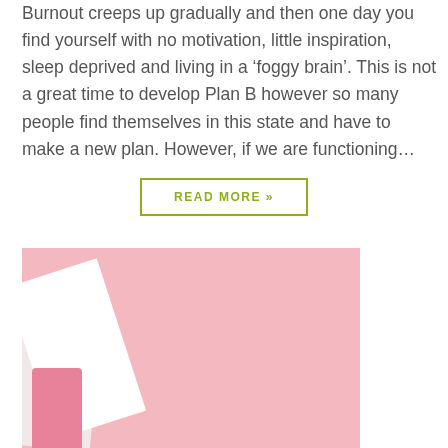Burnout creeps up gradually and then one day you find yourself with no motivation, little inspiration, sleep deprived and living in a 'foggy brain'. This is not a great time to develop Plan B however so many people find themselves in this state and have to make a new plan. However, if we are functioning…
READ MORE »
[Figure (photo): A pink background photo with white paper or packaging items, cosmetic-style product image with pink and white elements.]